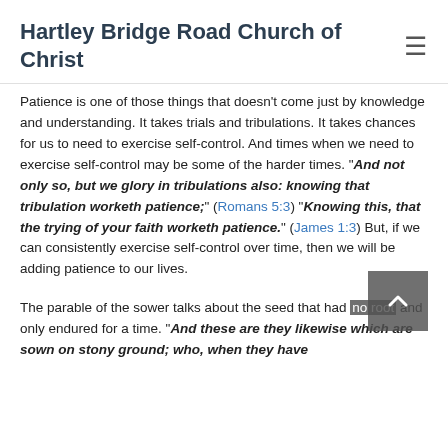Hartley Bridge Road Church of Christ
Patience is one of those things that doesn't come just by knowledge and understanding. It takes trials and tribulations. It takes chances for us to need to exercise self-control. And times when we need to exercise self-control may be some of the harder times. “And not only so, but we glory in tribulations also: knowing that tribulation worketh patience;” (Romans 5:3) “Knowing this, that the trying of your faith worketh patience.” (James 1:3) But, if we can consistently exercise self-control over time, then we will be adding patience to our lives.
The parable of the sower talks about the seed that had no root and only endured for a time. “And these are they likewise which are sown on stony ground; who, when they have